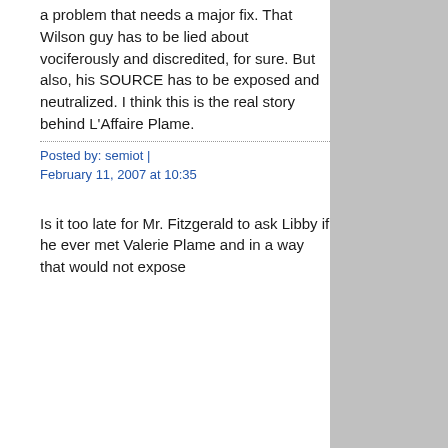a problem that needs a major fix. That Wilson guy has to be lied about vociferously and discredited, for sure. But also, his SOURCE has to be exposed and neutralized. I think this is the real story behind L'Affaire Plame.
Posted by: semiot | February 11, 2007 at 10:35
Is it too late for Mr. Fitzgerald to ask Libby if he ever met Valerie Plame and in a way that would not expose